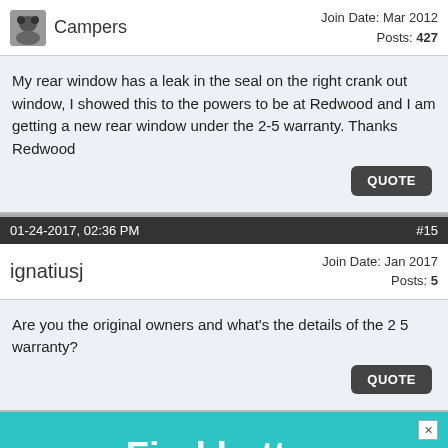Campers | Join Date: Mar 2012 | Posts: 427
My rear window has a leak in the seal on the right crank out window, I showed this to the powers to be at Redwood and I am getting a new rear window under the 2-5 warranty. Thanks Redwood
01-24-2017, 02:36 PM | #15
ignatiusj | Join Date: Jan 2017 | Posts: 5
Are you the original owners and what's the details of the 2 5 warranty?
[Figure (other): Advertisement banner with teal background and white bold text reading 'Find better campgrounds.']